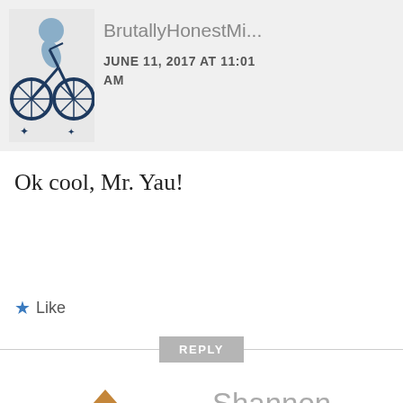[Figure (illustration): Cyclist avatar icon in blue tones on light gray background]
BrutallyHonestMi...
JUNE 11, 2017 AT 11:01 AM
Ok cool, Mr. Yau!
★ Like
REPLY
[Figure (logo): Shannon Fagan avatar: brown geometric windmill/house logo]
Shannon Fagan
JUNE 11, 2017 AT 4:59 PM
You provided a diverse view of the entire stock photo industry at large; including the macro/premium agents. For newcomers, I believe that it will be very